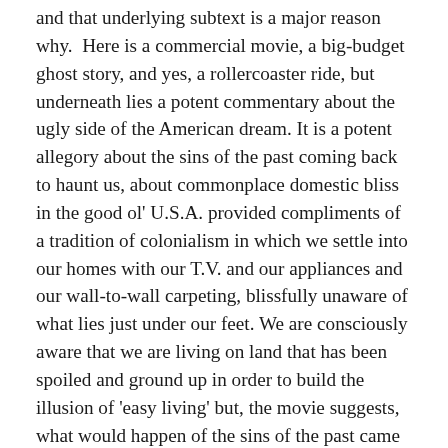and that underlying subtext is a major reason why. Here is a commercial movie, a big-budget ghost story, and yes, a rollercoaster ride, but underneath lies a potent commentary about the ugly side of the American dream. It is a potent allegory about the sins of the past coming back to haunt us, about commonplace domestic bliss in the good ol' U.S.A. provided compliments of a tradition of colonialism in which we settle into our homes with our T.V. and our appliances and our wall-to-wall carpeting, blissfully unaware of what lies just under our feet. We are consciously aware that we are living on land that has been spoiled and ground up in order to build the illusion of 'easy living' but, the movie suggests, what would happen of the sins of the past came back to demand restitution?
That is not to say that Steve and Diane Freeling are the propagators of such sins, but they are living the